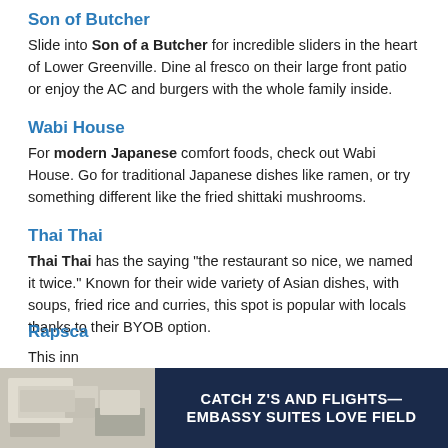Son of Butcher
Slide into Son of a Butcher for incredible sliders in the heart of Lower Greenville. Dine al fresco on their large front patio or enjoy the AC and burgers with the whole family inside.
Wabi House
For modern Japanese comfort foods, check out Wabi House. Go for traditional Japanese dishes like ramen, or try something different like the fried shittaki mushrooms.
Thai Thai
Thai Thai has the saying "the restaurant so nice, we named it twice." Known for their wide variety of Asian dishes, with soups, fried rice and curries, this spot is popular with locals thanks to their BYOB option.
Rapsca...
This inn... ch
[Figure (advertisement): Embassy Suites Love Field advertisement banner with room photo on the left and text 'CATCH Z'S AND FLIGHTS— EMBASSY SUITES LOVE FIELD' on dark navy background on the right.]